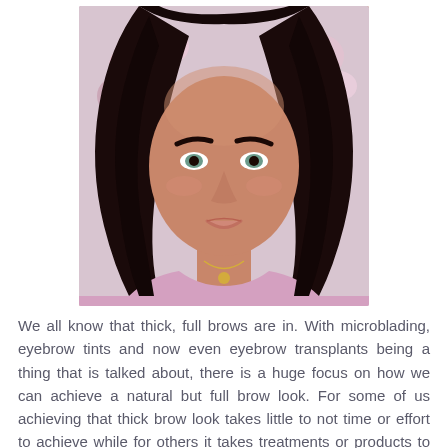[Figure (photo): Portrait photo of a woman with long dark hair, green eyes, wearing a pink top and gold necklace, with flowers in the background]
We all know that thick, full brows are in. With microblading, eyebrow tints and now even eyebrow transplants being a thing that is talked about, there is a huge focus on how we can achieve a natural but full brow look. For some of us achieving that thick brow look takes little to not time or effort to achieve while for others it takes treatments or products to do so. For those of us that require the extra time and attention to achieve this on trend look, we look for the best of brow pens and gels to use on the daily. Personally, I use a combination of both pencils and gels to achieve